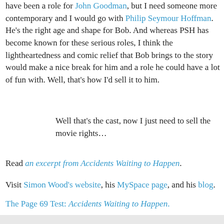have been a role for John Goodman, but I need someone more contemporary and I would go with Philip Seymour Hoffman. He's the right age and shape for Bob. And whereas PSH has become known for these serious roles, I think the lightheartedness and comic relief that Bob brings to the story would make a nice break for him and a role he could have a lot of fun with. Well, that's how I'd sell it to him.
Well that's the cast, now I just need to sell the movie rights…
Read an excerpt from Accidents Waiting to Happen.
Visit Simon Wood's website, his MySpace page, and his blog.
The Page 69 Test: Accidents Waiting to Happen.
--Marshal Zeringue